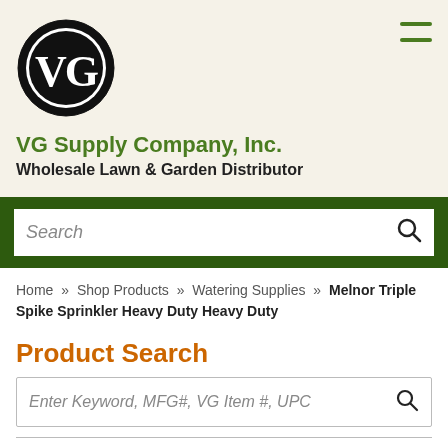[Figure (logo): VG Supply Company circular logo with VG monogram in black and white]
VG Supply Company, Inc.
Wholesale Lawn & Garden Distributor
Search (navigation search bar)
Home » Shop Products » Watering Supplies » Melnor Triple Spike Sprinkler Heavy Duty Heavy Duty
Product Search
Enter Keyword, MFG#, VG Item #, UPC
Categories